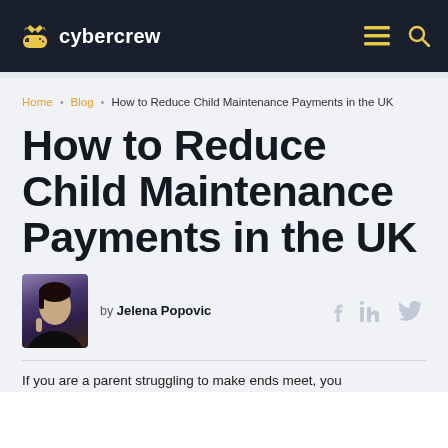cybercrew
Home • Blog • How to Reduce Child Maintenance Payments in the UK
How to Reduce Child Maintenance Payments in the UK
by Jelena Popovic
If you are a parent struggling to make ends meet, you